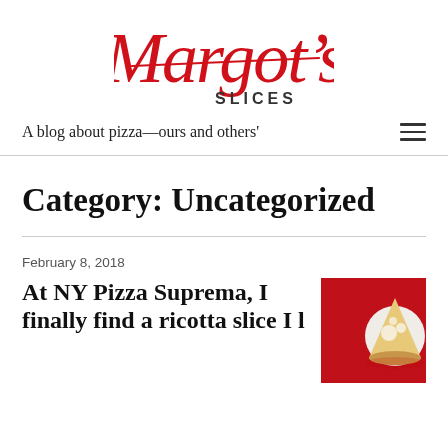[Figure (logo): Margot's Slices logo in red cursive script with 'SLICES' in bold black caps below]
A blog about pizza—ours and others'
Category: Uncategorized
February 8, 2018
At NY Pizza Suprema, I finally find a ricotta slice I l…
[Figure (photo): A pizza slice with ricotta on a white plate with red background]